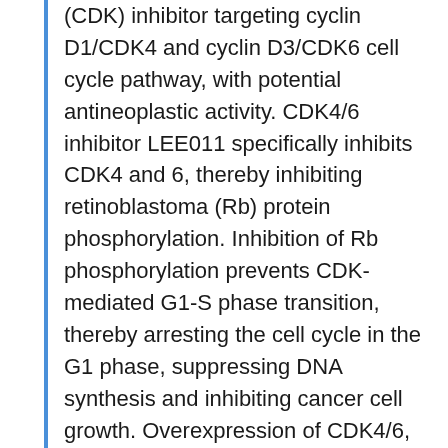(CDK) inhibitor targeting cyclin D1/CDK4 and cyclin D3/CDK6 cell cycle pathway, with potential antineoplastic activity. CDK4/6 inhibitor LEE011 specifically inhibits CDK4 and 6, thereby inhibiting retinoblastoma (Rb) protein phosphorylation. Inhibition of Rb phosphorylation prevents CDK-mediated G1-S phase transition, thereby arresting the cell cycle in the G1 phase, suppressing DNA synthesis and inhibiting cancer cell growth. Overexpression of CDK4/6, as seen in certain types of cancer, causes cell cycle deregulation. Ribociclib is in phase III clinical trials by Novartis for the treatment of postmenopausal women with advanced breast cancer. Phase II clinical trials are also in